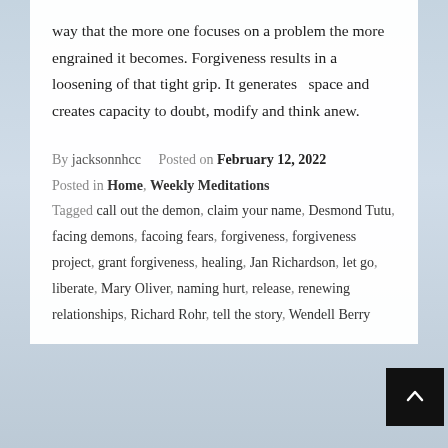way that the more one focuses on a problem the more engrained it becomes. Forgiveness results in a loosening of that tight grip. It generates  space and creates capacity to doubt, modify and think anew.
By jacksonnhcc     Posted on February 12, 2022
Posted in Home, Weekly Meditations
Tagged call out the demon, claim your name, Desmond Tutu, facing demons, facoing fears, forgiveness, forgiveness project, grant forgiveness, healing, Jan Richardson, let go, liberate, Mary Oliver, naming hurt, release, renewing relationships, Richard Rohr, tell the story, Wendell Berry